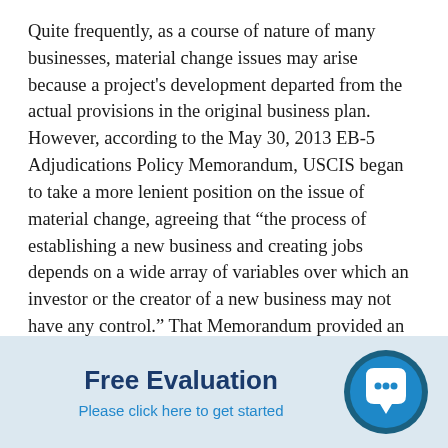Quite frequently, as a course of nature of many businesses, material change issues may arise because a project's development departed from the actual provisions in the original business plan. However, according to the May 30, 2013 EB-5 Adjudications Policy Memorandum, USCIS began to take a more lenient position on the issue of material change, agreeing that “the process of establishing a new business and creating jobs depends on a wide array of variables over which an investor or the creator of a new business may not have any control.” That Memorandum provided an overview of the consequences that changed business plans could have, depending on when the change occurred during the course of the investor’s immigration process. USCIS’ position on material change was affirmed in USCIS Policy Manual Update of November 30, 2016.
[Figure (other): Free Evaluation banner with chat bubble icon. Dark blue bold text 'Free Evaluation', blue link text 'Please click here to get started', and a dark teal circular chat bubble icon on the right.]